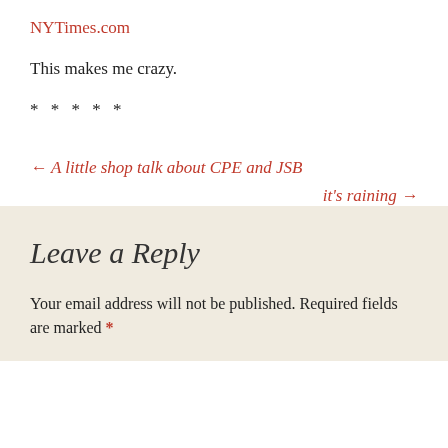NYTimes.com
This makes me crazy.
* * * * *
← A little shop talk about CPE and JSB
it's raining →
Leave a Reply
Your email address will not be published. Required fields are marked *